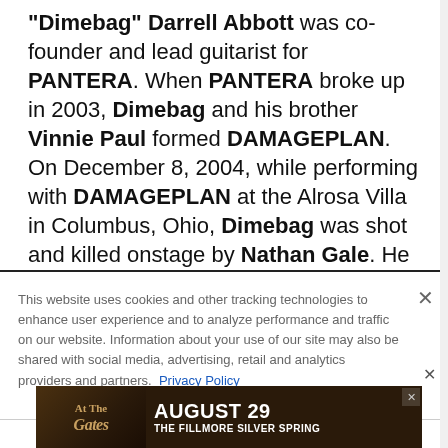"Dimebag" Darrell Abbott was co-founder and lead guitarist for PANTERA. When PANTERA broke up in 2003, Dimebag and his brother Vinnie Paul formed DAMAGEPLAN. On December 8, 2004, while performing with DAMAGEPLAN at the Alrosa Villa in Columbus, Ohio, Dimebag was shot and killed onstage by Nathan Gale. He was 38 years old.
This website uses cookies and other tracking technologies to enhance user experience and to analyze performance and traffic on our website. Information about your use of our site may also be shared with social media, advertising, retail and analytics providers and partners. Privacy Policy
[Figure (infographic): Advertisement banner for 'At The Gates' concert on August 29 at The Fillmore Silver Spring, dark background with decorative imagery]